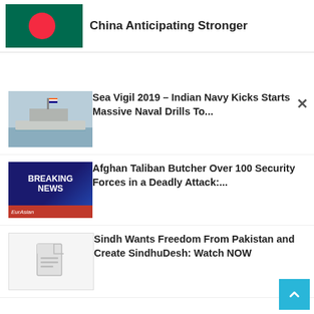[Figure (screenshot): Partial news article with Bangladesh flag image and headline 'China Anticipating Stronger']
China Anticipating Stronger
[Figure (photo): Indian Navy warship at sea]
Sea Vigil 2019 – Indian Navy Kicks Starts Massive Naval Drills To...
[Figure (screenshot): Breaking News graphic from EurAsian Times]
Afghan Taliban Butcher Over 100 Security Forces in a Deadly Attack:...
[Figure (illustration): Generic document placeholder thumbnail]
Sindh Wants Freedom From Pakistan and Create SindhuDesh: Watch NOW